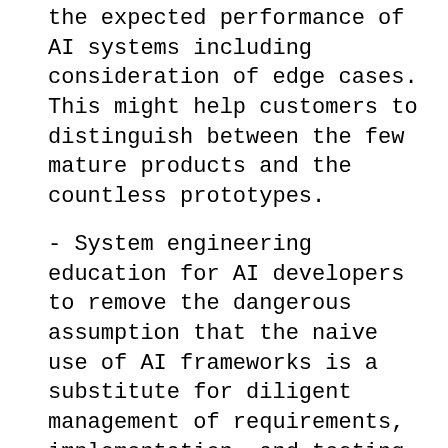the expected performance of AI systems including consideration of edge cases. This might help customers to distinguish between the few mature products and the countless prototypes.
- System engineering education for AI developers to remove the dangerous assumption that the naive use of AI frameworks is a substitute for diligent management of requirements, implementation, and testing.
- Since the 1960s, every new software development paradigm created an associated need for appropriate test, debugging, and verification tools. AI software is the